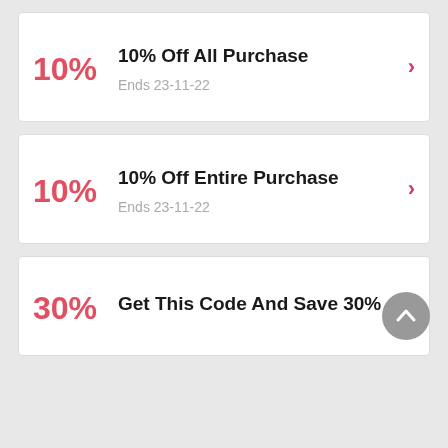10% — 10% Off All Purchase — Ends 23-11-22
10% — 10% Off Entire Purchase — Ends 23-11-22
30% — Get This Code And Save 30%